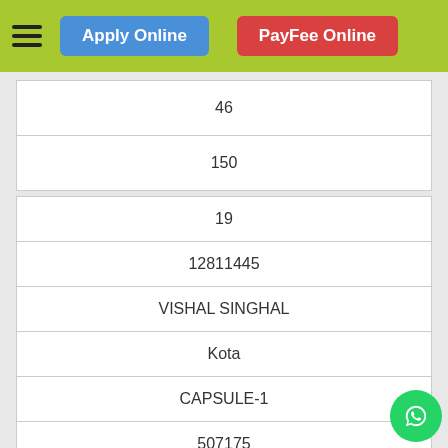Apply Online | PayFee Online
| 46 |
| 150 |
| 19 |
| 12811445 |
| VISHAL SINGHAL |
| Kota |
| CAPSULE-1 |
| 507175 |